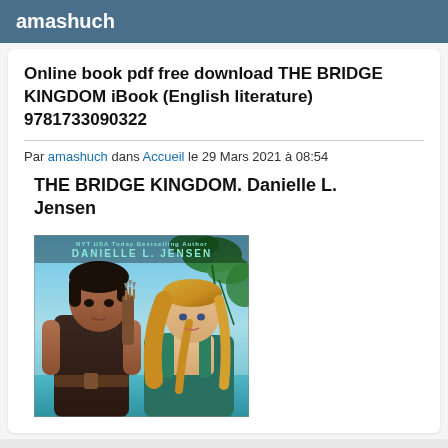amashuch
Online book pdf free download THE BRIDGE KINGDOM iBook (English literature) 9781733090322
Par amashuch dans Accueil le 29 Mars 2021 à 08:54
THE BRIDGE KINGDOM. Danielle L. Jensen
[Figure (illustration): Book cover illustration for The Bridge Kingdom by Danielle L. Jensen showing two fantasy characters — a dark-haired male archer and a blonde female — against a tropical/aquatic background with the author name at the top.]